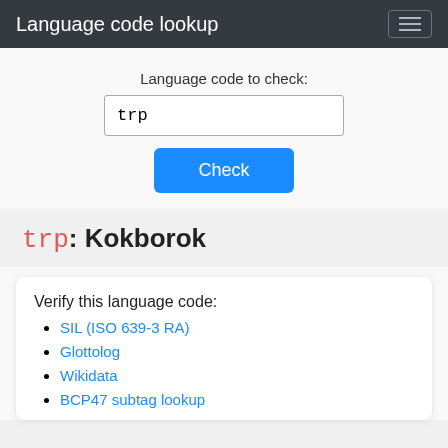Language code lookup
Language code to check:
trp
Check
trp: Kokborok
Verify this language code:
SIL (ISO 639-3 RA)
Glottolog
Wikidata
BCP47 subtag lookup